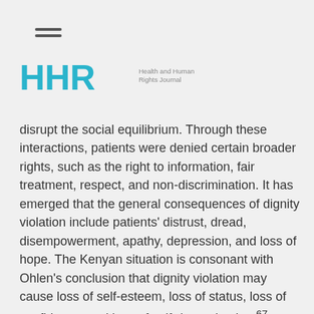[Figure (logo): HHR Health and Human Rights Journal logo with hamburger menu icon]
disrupt the social equilibrium. Through these interactions, patients were denied certain broader rights, such as the right to information, fair treatment, respect, and non-discrimination. It has emerged that the general consequences of dignity violation include patients' distrust, dread, disempowerment, apathy, depression, and loss of hope. The Kenyan situation is consonant with Ohlen's conclusion that dignity violation may cause loss of self-esteem, loss of status, loss of confidence, and loss of self-determination.67 Although patients find themselves in confinement due to their health conditions, acts that humiliate them and limit their fundamental rights are undesirable. By using their positions of authority to curtail the patients' rights, nurses contravene the provisions of ICCPR